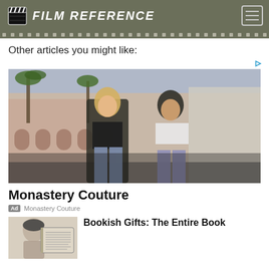FILM REFERENCE
Other articles you might like:
[Figure (photo): Advertisement photo showing two young women in denim shorts and casual tops standing on a city street with palm trees and pink buildings in the background.]
Monastery Couture
Ad  Monastery Couture
[Figure (photo): Thumbnail image showing a person's head next to an open book with text inside]
Bookish Gifts: The Entire Book